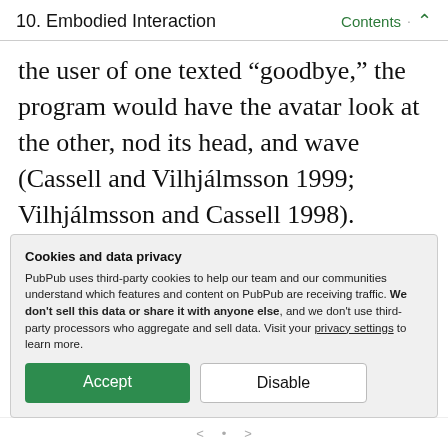10. Embodied Interaction · Contents ↑
the user of one texted “goodbye,” the program would have the avatar look at the other, nod its head, and wave (Cassell and Vilhjálmsson 1999; Vilhjálmsson and Cassell 1998). Similarly, an avatar can have programs that give it a set of actions to perform when idle (check its virtual
Cookies and data privacy
PubPub uses third-party cookies to help our team and our communities understand which features and content on PubPub are receiving traffic. We don’t sell this data or share it with anyone else, and we don’t use third-party processors who aggregate and sell data. Visit your privacy settings to learn more.